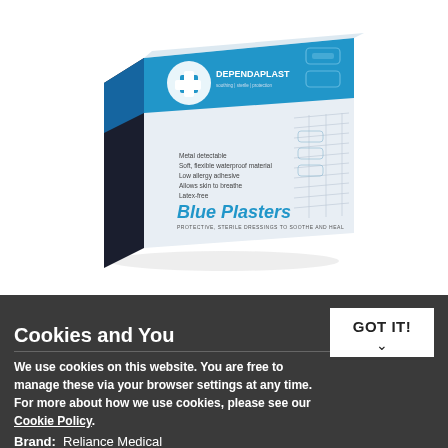[Figure (photo): Box of Dependaplast Blue Plasters - blue and white packaging with a medical cross logo. Text on box: Metal detectable, Soft, flexible waterproof material, Low allergy adhesive, Allows skin to breathe, Latex-free. Blue Plasters. PROTECTIVE, STERILE DRESSINGS TO SOOTHE AND HEAL.]
Size:
Cookies and You
GOT IT!
We use cookies on this website. You are free to manage these via your browser settings at any time. For more about how we use cookies, please see our Cookie Policy.
Brand:  Reliance Medical